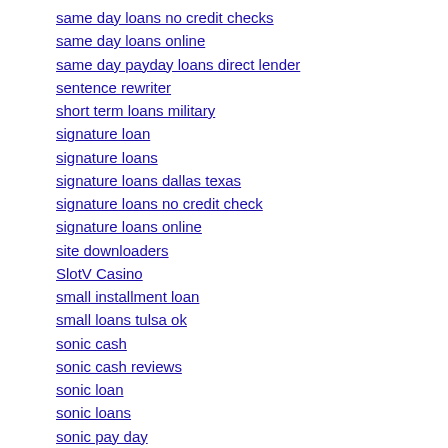same day loans no credit checks
same day loans online
same day payday loans direct lender
sentence rewriter
short term loans military
signature loan
signature loans
signature loans dallas texas
signature loans no credit check
signature loans online
site downloaders
SlotV Casino
small installment loan
small loans tulsa ok
sonic cash
sonic cash reviews
sonic loan
sonic loans
sonic pay day